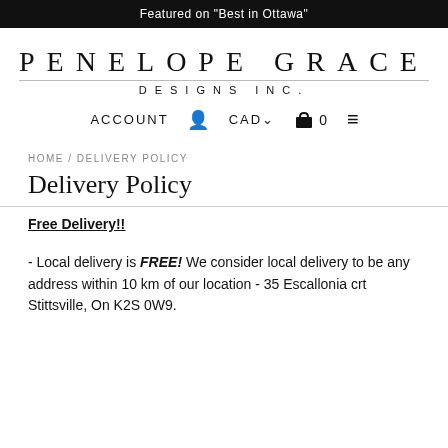Featured on "Best in Ottawa"
PENELOPE GRACE
DESIGNS INC.
ACCOUNT  CAD  0  ☰
HOME / DELIVERY POLICY
Delivery Policy
Free Delivery!!
- Local delivery is FREE! We consider local delivery to be any address within 10 km of our location - 35 Escallonia crt Stittsville, On K2S 0W9.